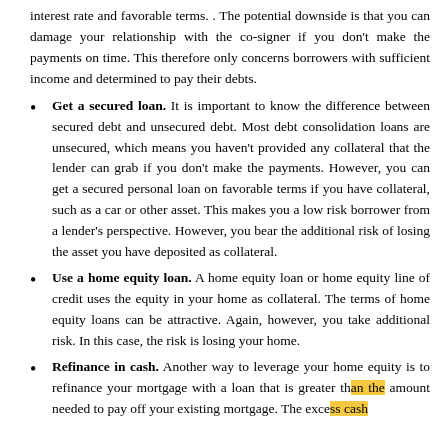interest rate and favorable terms. . The potential downside is that you can damage your relationship with the co-signer if you don't make the payments on time. This therefore only concerns borrowers with sufficient income and determined to pay their debts.
Get a secured loan. It is important to know the difference between secured debt and unsecured debt. Most debt consolidation loans are unsecured, which means you haven't provided any collateral that the lender can grab if you don't make the payments. However, you can get a secured personal loan on favorable terms if you have collateral, such as a car or other asset. This makes you a low risk borrower from a lender's perspective. However, you bear the additional risk of losing the asset you have deposited as collateral.
Use a home equity loan. A home equity loan or home equity line of credit uses the equity in your home as collateral. The terms of home equity loans can be attractive. Again, however, you take additional risk. In this case, the risk is losing your home.
Refinance in cash. Another way to leverage your home equity is to refinance your mortgage with a loan that is greater than the amount needed to pay off your existing mortgage. The excess cash